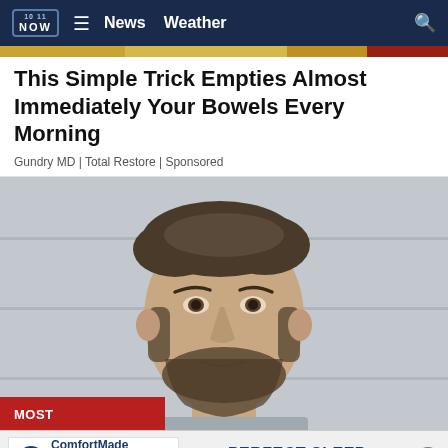NOW  ≡  News  Weather  🔍
This Simple Trick Empties Almost Immediately Your Bowels Every Morning
Gundry MD | Total Restore | Sponsored
[Figure (photo): Mugshot photo of a man with brown hair and a beard against a light grey wall]
MOST
Inmate
ComfortMade MATTRESS FACTORY  PERFECT SLEEP STARTS HERE...GUARANTEED!  531.500.5030  27TH & SUPERIOR (NEXT TO PETSMART)
cility